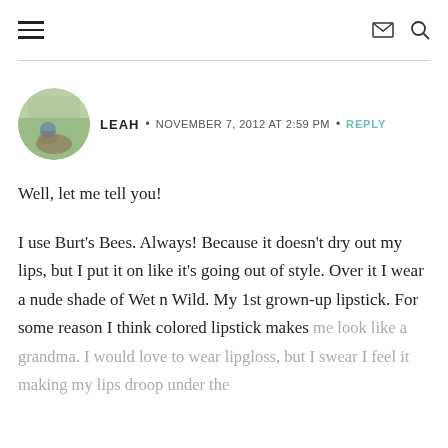Navigation menu, mail icon, search icon
LEAH · NOVEMBER 7, 2012 AT 2:59 PM · REPLY
Well, let me tell you!

I use Burt's Bees. Always! Because it doesn't dry out my lips, but I put it on like it's going out of style. Over it I wear a nude shade of Wet n Wild. My 1st grown-up lipstick. For some reason I think colored lipstick makes me look like a grandma. I would love to wear lipgloss, but I swear I feel it making my lips droop under the